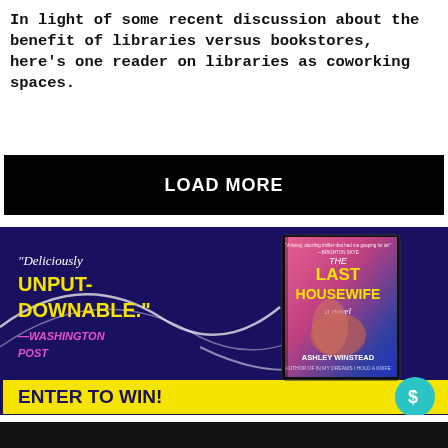In light of some recent discussion about the benefit of libraries versus bookstores, here's one reader on libraries as coworking spaces.
[Figure (other): Black button with white bold text reading LOAD MORE]
[Figure (illustration): Book advertisement for 'The Last Housewife' by Ashley Winstead on a dark purple/navy background. Left side shows quote text: 'Deliciously UNPUT-DOWNABLE.' —WASHINGTON POST in white and yellow. Center shows the book cover with hands holding keys. Bottom has yellow banner reading 'ENTER TO WIN!' and a teal circular logo with S symbol.]
[Figure (other): Dark footer bar at bottom of page with partial image visible]